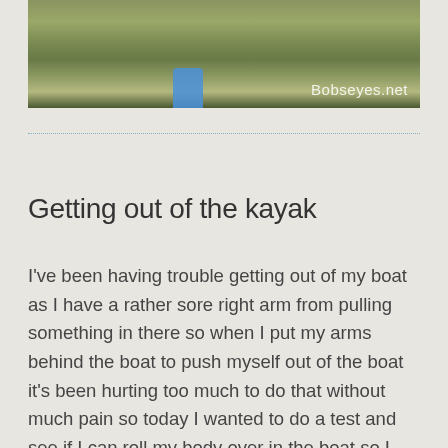[Figure (photo): Photograph of a water/river scene with greenish-brown reflections and a blue kayak or boat visible at the bottom center. Watermark 'Bobseyes.net' in lower right corner.]
Getting out of the kayak
I've been having trouble getting out of my boat as I have a rather sore right arm from pulling something in there so when I put my arms behind the boat to push myself out of the boat it's been hurting too much to do that without much pain so today I wanted to do a test and see if I can roll my body over in the boat so I can get out on my knees. I wasn't sure I could do it but it actually worked pretty good as long as the bottom of the boat was grounded and not